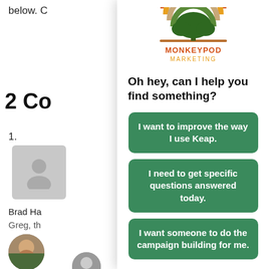below. C
[Figure (logo): Monkeypod Marketing logo — a green tree silhouette over a half-sun with orange, yellow, tan, and green horizontal stripes. Text: MONKEYPOD MARKETING]
2 Co
1.
[Figure (photo): Gray placeholder avatar silhouette icon]
Brad Ha
Greg, th
[Figure (photo): Round avatar photo of a man with a beard outdoors]
[Figure (photo): Partial round avatar photo at bottom]
Oh hey, can I help you find something?
I want to improve the way I use Keap.
I need to get specific questions answered today.
I want someone to do the campaign building for me.